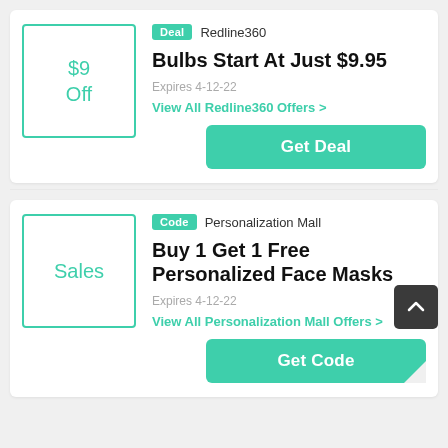[Figure (other): Coupon card 1: Deal from Redline360 - $9 Off box with teal border, tag 'Deal', store name 'Redline360', title 'Bulbs Start At Just $9.95', expires 4-12-22, link 'View All Redline360 Offers', button 'Get Deal']
[Figure (other): Coupon card 2: Code from Personalization Mall - 'Sales' box with teal border, tag 'Code', store name 'Personalization Mall', title 'Buy 1 Get 1 Free Personalized Face Masks', expires 4-12-22, link 'View All Personalization Mall Offers', button 'Get Code', scroll-to-top button overlay]